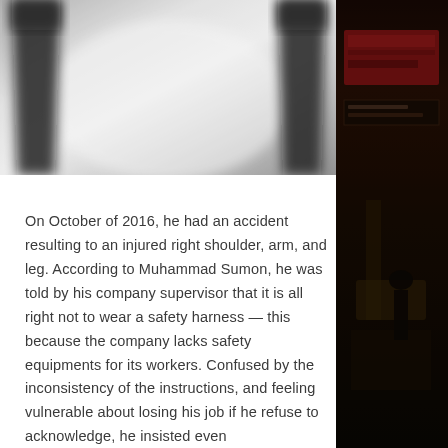[Figure (photo): Black and white blurred photo showing legs of people, likely workers, with silhouettes visible at top]
On October of 2016, he had an accident resulting to an injured right shoulder, arm, and leg. According to Muhammad Sumon, he was told by his company supervisor that it is all right not to wear a safety harness — this because the company lacks safety equipments for its workers. Confused by the inconsistency of the instructions, and feeling vulnerable about losing his job if he refuse to acknowledge, he insisted even
[Figure (photo): Dark photo of a street scene with shop signs and a person with a cart, taken at night or in low light conditions]